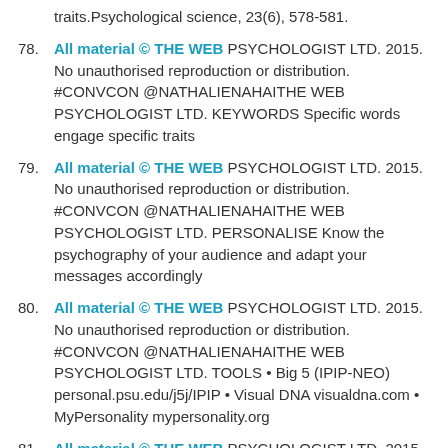traits.Psychological science, 23(6), 578-581.
78. All material © THE WEB PSYCHOLOGIST LTD. 2015. No unauthorised reproduction or distribution. #CONVCON @NATHALIENAHAITHE WEB PSYCHOLOGIST LTD. KEYWORDS Specific words engage specific traits
79. All material © THE WEB PSYCHOLOGIST LTD. 2015. No unauthorised reproduction or distribution. #CONVCON @NATHALIENAHAITHE WEB PSYCHOLOGIST LTD. PERSONALISE Know the psychography of your audience and adapt your messages accordingly
80. All material © THE WEB PSYCHOLOGIST LTD. 2015. No unauthorised reproduction or distribution. #CONVCON @NATHALIENAHAITHE WEB PSYCHOLOGIST LTD. TOOLS • Big 5 (IPIP-NEO) personal.psu.edu/j5j/IPIP • Visual DNA visualdna.com • MyPersonality mypersonality.org
81. All material © THE WEB PSYCHOLOGIST LTD. 2015. No unauthorised reproduction or distribution. #CONVCON @NATHALIENAHAITHE WEB PSYCHOLOGIST LTD. TRIGGERS & HEADLINES
82. All material © THE WEB PSYCHOLOGIST LTD. 2015. No